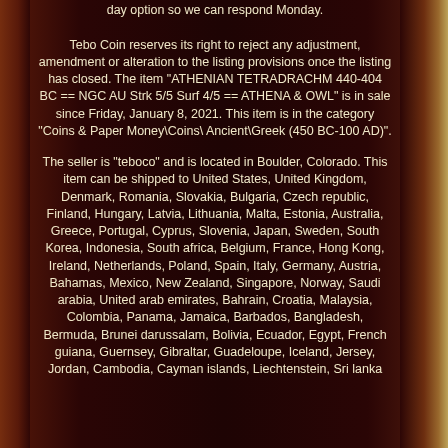day option so we can respond Monday. Tebo Coin reserves its right to reject any adjustment, amendment or alteration to the listing provisions once the listing has closed. The item "ATHENIAN TETRADRACHM 440-404 BC == NGC AU Strk 5/5 Surf 4/5 == ATHENA & OWL" is in sale since Friday, January 8, 2021. This item is in the category "Coins & Paper Money\Coins\ Ancient\Greek (450 BC-100 AD)".
The seller is "teboco" and is located in Boulder, Colorado. This item can be shipped to United States, United Kingdom, Denmark, Romania, Slovakia, Bulgaria, Czech republic, Finland, Hungary, Latvia, Lithuania, Malta, Estonia, Australia, Greece, Portugal, Cyprus, Slovenia, Japan, Sweden, South Korea, Indonesia, South africa, Belgium, France, Hong Kong, Ireland, Netherlands, Poland, Spain, Italy, Germany, Austria, Bahamas, Mexico, New Zealand, Singapore, Norway, Saudi arabia, United arab emirates, Bahrain, Croatia, Malaysia, Colombia, Panama, Jamaica, Barbados, Bangladesh, Bermuda, Brunei darussalam, Bolivia, Ecuador, Egypt, French guiana, Guernsey, Gibraltar, Guadeloupe, Iceland, Jersey, Jordan, Cambodia, Cayman islands, Liechtenstein, Sri lanka